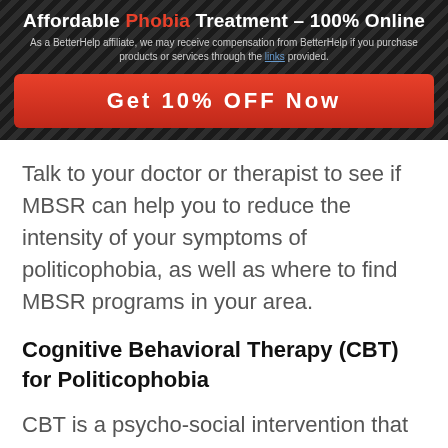Affordable Phobia Treatment – 100% Online
As a BetterHelp affiliate, we may receive compensation from BetterHelp if you purchase products or services through the links provided.
Get 10% OFF Now
Talk to your doctor or therapist to see if MBSR can help you to reduce the intensity of your symptoms of politicophobia, as well as where to find MBSR programs in your area.
Cognitive Behavioral Therapy (CBT) for Politicophobia
CBT is a psycho-social intervention that aims to improve one's mental health. It is a modality that